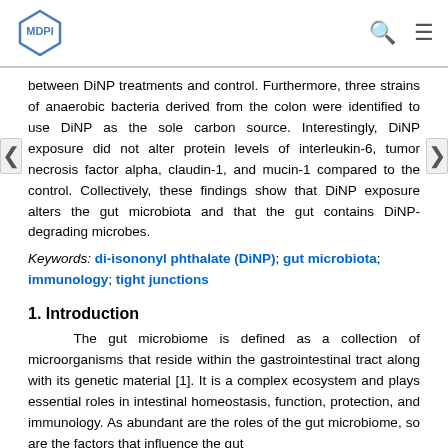MDPI [logo] [search icon] [menu icon]
between DiNP treatments and control. Furthermore, three strains of anaerobic bacteria derived from the colon were identified to use DiNP as the sole carbon source. Interestingly, DiNP exposure did not alter protein levels of interleukin-6, tumor necrosis factor alpha, claudin-1, and mucin-1 compared to the control. Collectively, these findings show that DiNP exposure alters the gut microbiota and that the gut contains DiNP-degrading microbes.
Keywords: di-isononyl phthalate (DiNP); gut microbiota; immunology; tight junctions
1. Introduction
The gut microbiome is defined as a collection of microorganisms that reside within the gastrointestinal tract along with its genetic material [1]. It is a complex ecosystem and plays essential roles in intestinal homeostasis, function, protection, and immunology. As abundant are the roles of the gut microbiome, so are the factors that influence the gut